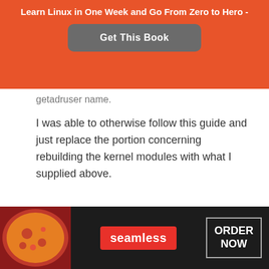Learn Linux in One Week and Go From Zero to Hero -
[Figure (other): Get This Book button on orange background]
getadruser name.
I was able to otherwise follow this guide and just replace the portion concerning rebuilding the kernel modules with what I supplied above.
Source: http://www.if-not-true-then-false.com/2010/install-virtualbox-with-yum-on-fedora-centos-red-
[Figure (screenshot): Seamless food delivery advertisement with pizza image and ORDER NOW button]